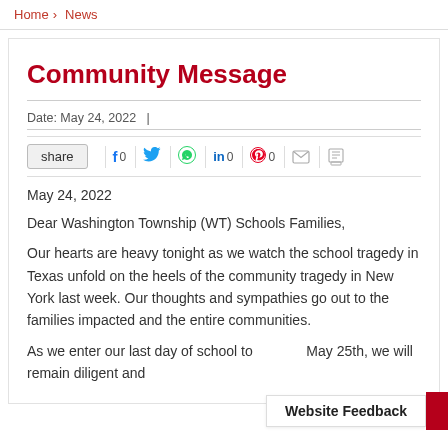Home > News
Community Message
Date: May 24, 2022
share  f 0  [Twitter]  [WhatsApp]  in 0  [Pinterest] 0  [Email]  [Print]
May 24, 2022
Dear Washington Township (WT) Schools Families,
Our hearts are heavy tonight as we watch the school tragedy in Texas unfold on the heels of the community tragedy in New York last week. Our thoughts and sympathies go out to the families impacted and the entire communities.
As we enter our last day of school to... May 25th, we will remain diligent and
Website Feedback